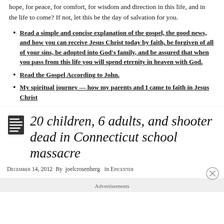hope, for peace, for comfort, for wisdom and direction in this life, and in the life to come? If not, let this be the day of salvation for you.
Read a simple and concise explanation of the gospel, the good news, and how you can receive Jesus Christ today by faith, be forgiven of all of your sins, be adopted into God's family, and be assured that when you pass from this life you will spend eternity in heaven with God.
Read the Gospel According to John.
My spiritual journey — how my parents and I came to faith in Jesus Christ
20 children, 6 adults, and shooter dead in Connecticut school massacre
December 14, 2012  By  joelcrosenberg   in Epicenter
Advertisements